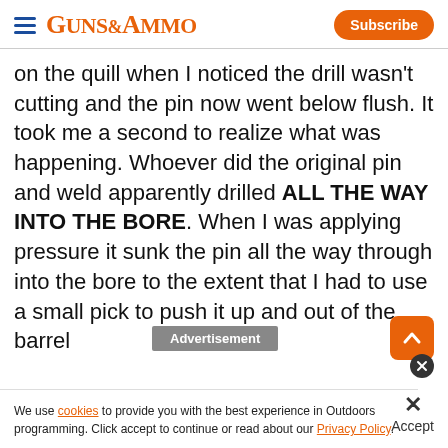GUNS&AMMO | Subscribe
on the quill when I noticed the drill wasn't cutting and the pin now went below flush. It took me a second to realize what was happening. Whoever did the original pin and weld apparently drilled ALL THE WAY INTO THE BORE. When I was applying pressure it sunk the pin all the way through into the bore to the extent that I had to use a small pick to push it up and out of the barrel
Advertisement
We use cookies to provide you with the best experience in Outdoors programming. Click accept to continue or read about our Privacy Policy.
Accept